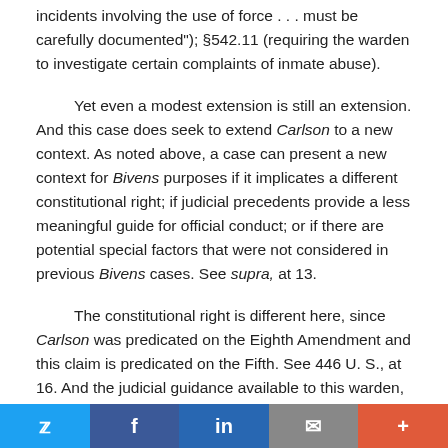incidents involving the use of force . . . must be carefully documented"); §542.11 (requiring the warden to investigate certain complaints of inmate abuse).
Yet even a modest extension is still an extension. And this case does seek to extend Carlson to a new context. As noted above, a case can present a new context for Bivens purposes if it implicates a different constitutional right; if judicial precedents provide a less meaningful guide for official conduct; or if there are potential special factors that were not considered in previous Bivens cases. See supra, at 13.
The constitutional right is different here, since Carlson was predicated on the Eighth Amendment and this claim is predicated on the Fifth. See 446 U. S., at 16. And the judicial guidance available to this warden, with respect to his supervisory duties, was less developed. The Court has long
Twitter Facebook LinkedIn Email More